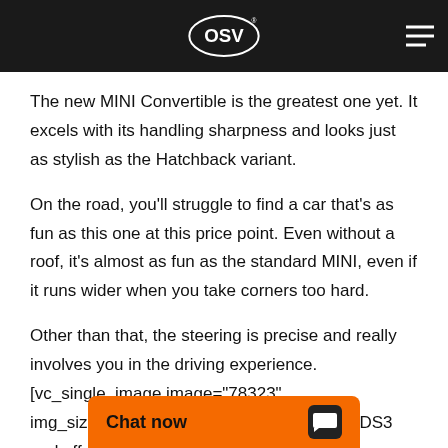OSV logo and navigation header
The new MINI Convertible is the greatest one yet. It excels with its handling sharpness and looks just as stylish as the Hatchback variant.
On the road, you'll struggle to find a car that's as fun as this one at this price point. Even without a roof, it's almost as fun as the standard MINI, even if it runs wider when you take corners too hard.
Other than that, the steering is precise and really involves you in the driving experience.[vc_single_image image="78323" img_size="article-image"]It's agiler than the DS3 and offers lots of grip. There are three d